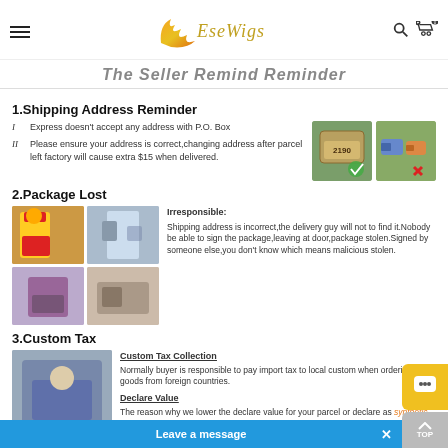EseWigs (logo header with hamburger menu, search and cart icons)
The Seller Remind Reminder
1.Shipping Address Reminder
I  Express doesn't accept any address with P.O. Box
II  Please ensure your address is correct,changing address after parcel left factory will cause extra $15 when delivered.
[Figure (photo): Two images: address plaque showing 2190 with a green checkmark, and mailboxes with a red X]
2.Package Lost
[Figure (photo): Four photos of delivery couriers and workers]
Irresponsible: Shipping address is incorrect,the delivery guy will not to find it.Nobody be able to sign the package,leaving at door,package stolen.Signed by someone else,you don't know which means malicious stolen.
3.Custom Tax
[Figure (photo): Photo of customs workers]
Custom Tax Collection
Normally buyer is responsible to pay import tax to local custom when ordering goods from foreign countries.
Declare Value
The reason why we lower the declare value for your parcel or declare as synthetic hair is to just avoid custom tax.So you may leave us a message for declare value when placing orders.
Genuine Hair
The hair is genuine hair...